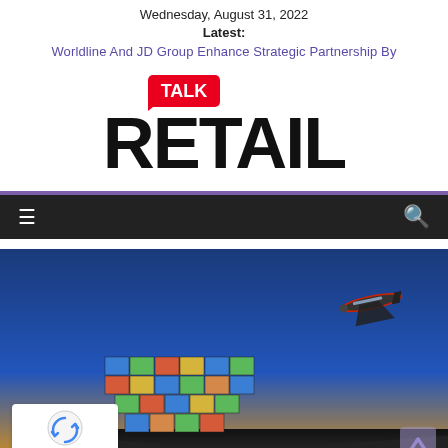Wednesday, August 31, 2022
Latest:
Worldline And JD Group Enhance Strategic Partnership By
[Figure (logo): Talk Retail logo: red speech bubble with white 'TALK' text above large black 'RETAIL' text]
[Figure (other): Dark navigation bar with hamburger menu icon on the left and search icon on the right, on black background with purple accent bar above]
[Figure (photo): Photo of a cargo ship loaded with colorful shipping containers under a blue sky with an airplane flying overhead, at sunset/dusk lighting. reCAPTCHA badge in lower left corner and scroll-up arrow in lower right.]